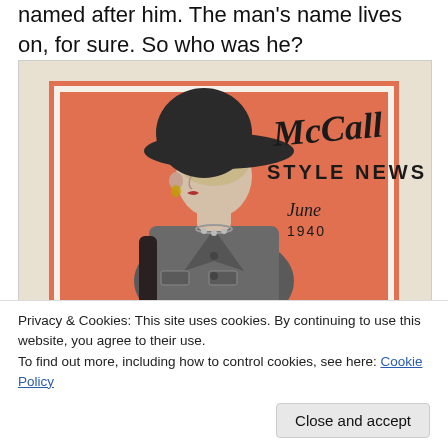named after him. The man's name lives on, for sure. So who was he?
[Figure (photo): Cover of McCall Style News, June 1940. Shows a fashionably dressed woman wearing a large dark hat, jacket with pockets, and necklace, posed against an orange/salmon background. The McCall logo appears in stylized script at upper right, with 'STYLE NEWS' in bold block letters below it, and 'June 1940' in italic script.]
Privacy & Cookies: This site uses cookies. By continuing to use this website, you agree to their use.
To find out more, including how to control cookies, see here: Cookie Policy
Close and accept